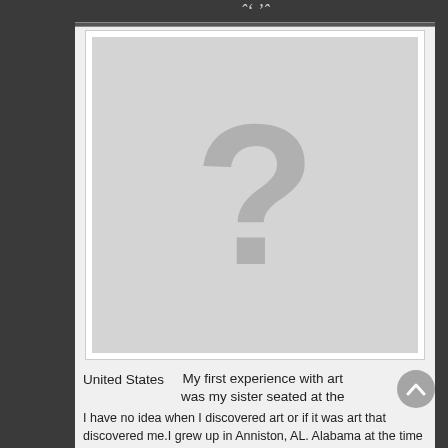[Figure (photo): Placeholder image with a large grey question mark on a light grey background, indicating a missing profile photo.]
United States
My first experience with art was my sister seated at the
I have no idea when I discovered art or if it was art that discovered me.I grew up in Anniston, AL. Alabama at the time was a place where finishing high school was in some circles considered to be the epitome of higher education